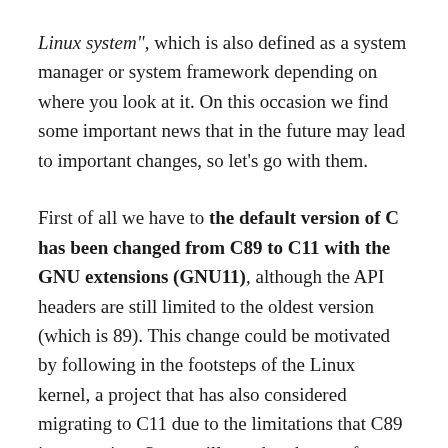Linux system", which is also defined as a system manager or system framework depending on where you look at it. On this occasion we find some important news that in the future may lead to important changes, so let's go with them.
First of all we have to the default version of C has been changed from C89 to C11 with the GNU extensions (GNU11), although the API headers are still limited to the oldest version (which is 89). This change could be motivated by following in the footsteps of the Linux kernel, a project that has also considered migrating to C11 due to the limitations that C89 is presenting. Some will say that the true future is Rust, but here we would be getting too